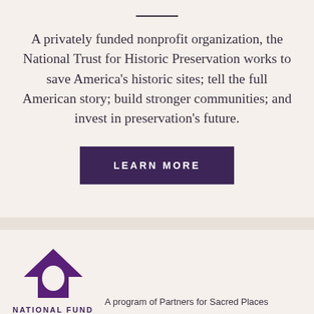A privately funded nonprofit organization, the National Trust for Historic Preservation works to save America's historic sites; tell the full American story; build stronger communities; and invest in preservation's future.
[Figure (other): A button reading LEARN MORE on a dark purple background]
[Figure (logo): National Fund logo — a purple house/arch icon above the text NATIONAL FUND]
A program of Partners for Sacred Places